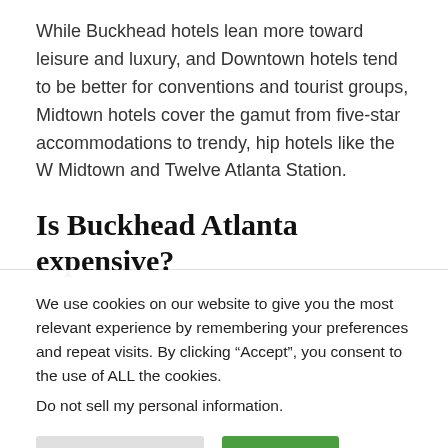While Buckhead hotels lean more toward leisure and luxury, and Downtown hotels tend to be better for conventions and tourist groups, Midtown hotels cover the gamut from five-star accommodations to trendy, hip hotels like the W Midtown and Twelve Atlanta Station.
Is Buckhead Atlanta expensive?
We use cookies on our website to give you the most relevant experience by remembering your preferences and repeat visits. By clicking “Accept”, you consent to the use of ALL the cookies. Do not sell my personal information.